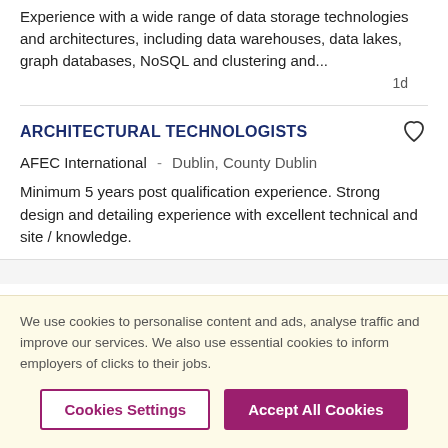Experience with a wide range of data storage technologies and architectures, including data warehouses, data lakes, graph databases, NoSQL and clustering and...
1d
ARCHITECTURAL TECHNOLOGISTS
AFEC International  -  Dublin, County Dublin
Minimum 5 years post qualification experience. Strong design and detailing experience with excellent technical and site / knowledge.
We use cookies to personalise content and ads, analyse traffic and improve our services. We also use essential cookies to inform employers of clicks to their jobs.